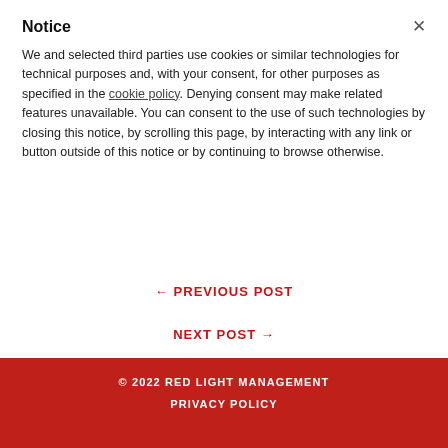Notice
We and selected third parties use cookies or similar technologies for technical purposes and, with your consent, for other purposes as specified in the cookie policy. Denying consent may make related features unavailable. You can consent to the use of such technologies by closing this notice, by scrolling this page, by interacting with any link or button outside of this notice or by continuing to browse otherwise.
← PREVIOUS POST
NEXT POST →
© 2022 RED LIGHT MANAGEMENT
PRIVACY POLICY